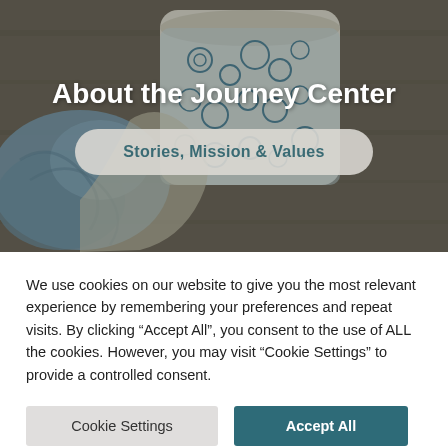[Figure (photo): Hero banner image of a decorative ceramic mug with floral pattern and blue yarn, overlaid with the title 'About the Journey Center' and a 'Stories, Mission & Values' button]
About the Journey Center
Stories, Mission & Values
We use cookies on our website to give you the most relevant experience by remembering your preferences and repeat visits. By clicking "Accept All", you consent to the use of ALL the cookies. However, you may visit "Cookie Settings" to provide a controlled consent.
Cookie Settings
Accept All